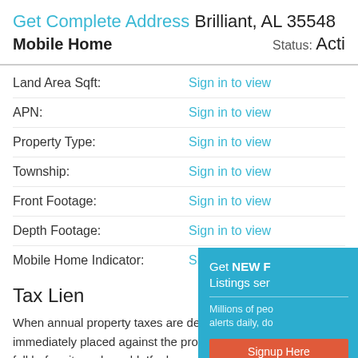Get Complete Address Brilliant, AL 35548
Mobile Home   Status: Acti
Land Area Sqft: Sign in to view
APN: Sign in to view
Property Type: Sign in to view
Township: Sign in to view
Front Footage: Sign in to view
Depth Footage: Sign in to view
Mobile Home Indicator: Sign in to view
[Figure (screenshot): Popup overlay: Get NEW F... Listings ser... Millions of peo... alerts daily, do... Signup Here | No Thanks | Re...]
Tax Lien
When annual property taxes are delinquent, a lien is immediately placed against the property that must be paid in full before it can be sold. If a homeowner fails to pay his or her property taxes, the government can then initiate a